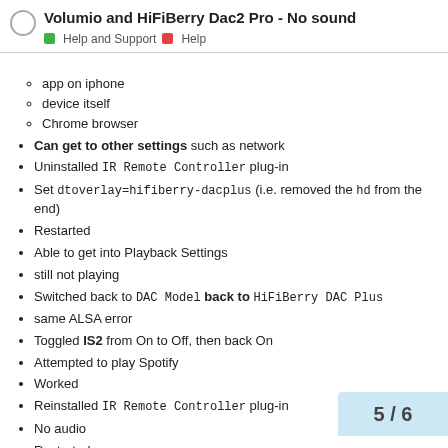Volumio and HiFiBerry Dac2 Pro - No sound
Help and Support  Help
app on iphone
device itself
Chrome browser
Can get to other settings such as network
Uninstalled IR Remote Controller plug-in
Set dtoverlay=hifiberry-dacplus (i.e. removed the hd from the end)
Restarted
Able to get into Playback Settings
still not playing
Switched back to DAC Model back to HiFiBerry DAC Plus
same ALSA error
Toggled IS2 from On to Off, then back On
Attempted to play Spotify
Worked
Reinstalled IR Remote Controller plug-in
No audio
Restarted